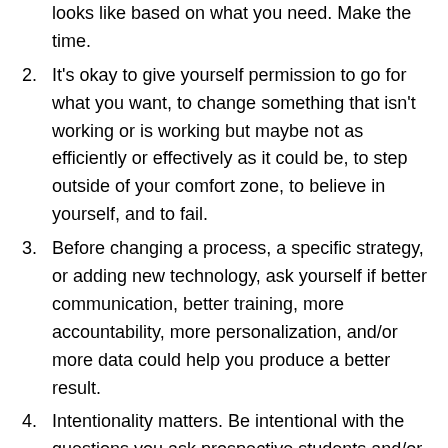looks like based on what you need. Make the time.
2. It's okay to give yourself permission to go for what you want, to change something that isn't working or is working but maybe not as efficiently or effectively as it could be, to step outside of your comfort zone, to believe in yourself, and to fail.
3. Before changing a process, a specific strategy, or adding new technology, ask yourself if better communication, better training, more accountability, more personalization, and/or more data could help you produce a better result.
4. Intentionality matters. Be intentional with the questions you ask prospective students and/or their parents. Be intentional with your personal